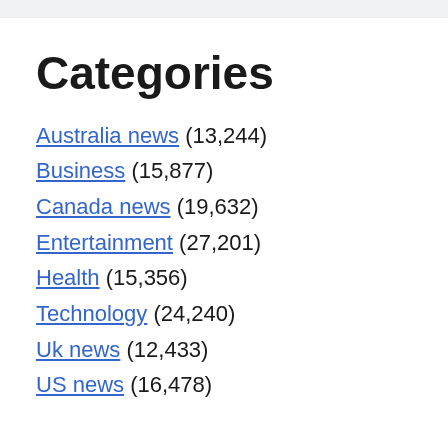Categories
Australia news (13,244)
Business (15,877)
Canada news (19,632)
Entertainment (27,201)
Health (15,356)
Technology (24,240)
Uk news (12,433)
US news (16,478)